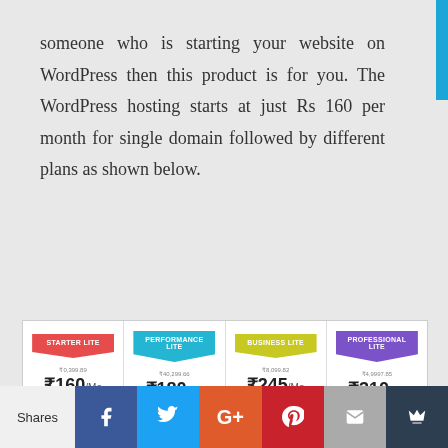someone who is starting your website on WordPress then this product is for you. The WordPress hosting starts at just Rs 160 per month for single domain followed by different plans as shown below.
[Figure (infographic): Pricing table showing 4 WordPress hosting plans: Starter Lite (₹160/mo, 1 Website), Performance Lite (₹180/mo, 2 Websites), Business Lite (₹245/mo, 3 Websites), Professional Lite (₹310/mo, 5 Websites) with support information below each plan.]
Shares | Facebook | Twitter | Google+ | Pinterest | Email | Crown